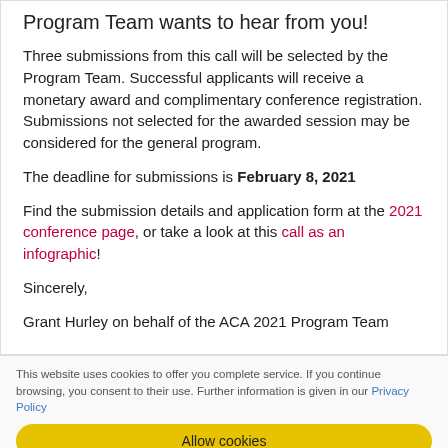Program Team wants to hear from you!
Three submissions from this call will be selected by the Program Team. Successful applicants will receive a monetary award and complimentary conference registration. Submissions not selected for the awarded session may be considered for the general program.
The deadline for submissions is February 8, 2021
Find the submission details and application form at the 2021 conference page, or take a look at this call as an infographic!
Sincerely,
Grant Hurley on behalf of the ACA 2021 Program Team
This website uses cookies to offer you complete service. If you continue browsing, you consent to their use. Further information is given in our Privacy Policy
Allow cookies